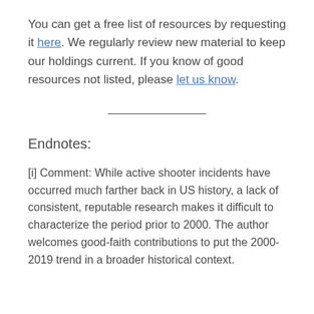You can get a free list of resources by requesting it here. We regularly review new material to keep our holdings current. If you know of good resources not listed, please let us know.
Endnotes:
[i] Comment: While active shooter incidents have occurred much farther back in US history, a lack of consistent, reputable research makes it difficult to characterize the period prior to 2000. The author welcomes good-faith contributions to put the 2000-2019 trend in a broader historical context.